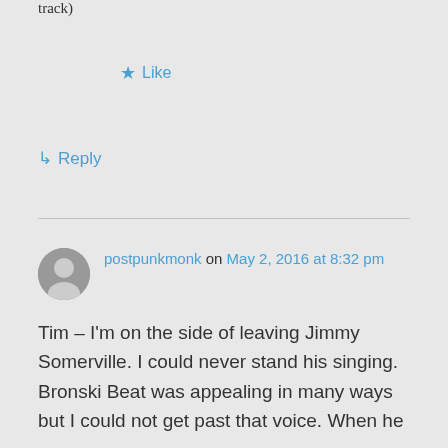track)
★ Like
↳ Reply
postpunkmonk on May 2, 2016 at 8:32 pm
Tim – I'm on the side of leaving Jimmy Somerville. I could never stand his singing. Bronski Beat was appealing in many ways but I could not get past that voice. When he